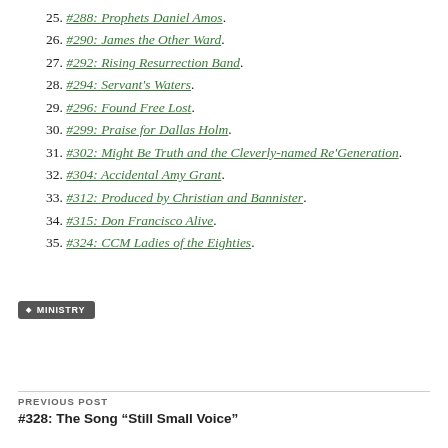25. #288: Prophets Daniel Amos.
26. #290: James the Other Ward.
27. #292: Rising Resurrection Band.
28. #294: Servant's Waters.
29. #296: Found Free Lost.
30. #299: Praise for Dallas Holm.
31. #302: Might Be Truth and the Cleverly-named Re'Generation.
32. #304: Accidental Amy Grant.
33. #312: Produced by Christian and Bannister.
34. #315: Don Francisco Alive.
35. #324: CCM Ladies of the Eighties.
MINISTRY
PREVIOUS POST
#328: The Song “Still Small Voice”